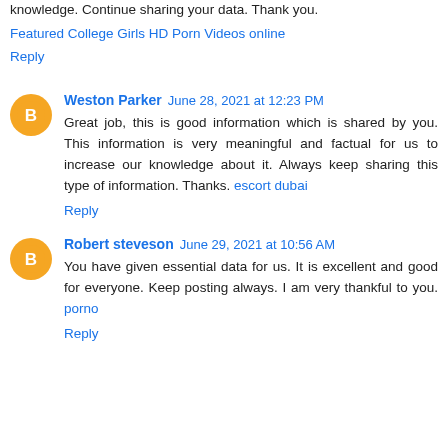knowledge. Continue sharing your data. Thank you.
Featured College Girls HD Porn Videos online
Reply
Weston Parker  June 28, 2021 at 12:23 PM
Great job, this is good information which is shared by you. This information is very meaningful and factual for us to increase our knowledge about it. Always keep sharing this type of information. Thanks. escort dubai
Reply
Robert steveson  June 29, 2021 at 10:56 AM
You have given essential data for us. It is excellent and good for everyone. Keep posting always. I am very thankful to you. porno
Reply